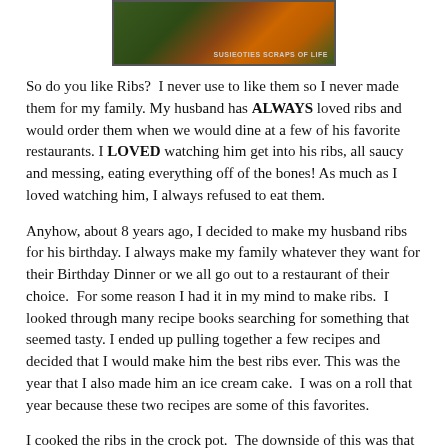[Figure (photo): Food photo showing ribs with colorful garnishes, watermark reads 'SUSIEOTIES SCRAPS OF LIFE']
So do you like Ribs?  I never use to like them so I never made them for my family. My husband has ALWAYS loved ribs and would order them when we would dine at a few of his favorite restaurants. I LOVED watching him get into his ribs, all saucy and messing, eating everything off of the bones! As much as I loved watching him, I always refused to eat them.
Anyhow, about 8 years ago, I decided to make my husband ribs for his birthday. I always make my family whatever they want for their Birthday Dinner or we all go out to a restaurant of their choice.  For some reason I had it in my mind to make ribs.  I looked through many recipe books searching for something that seemed tasty. I ended up pulling together a few recipes and decided that I would make him the best ribs ever. This was the year that I also made him an ice cream cake.  I was on a roll that year because these two recipes are some of this favorites.
I cooked the ribs in the crock pot.  The downside of this was that I was home all day and I had to SMELL the ribs ALL DAY LONG. The positive side of this is that they smelled so good that I could not wait to taste them for myself.  I did taste them before serving and they were... AWESOME! I